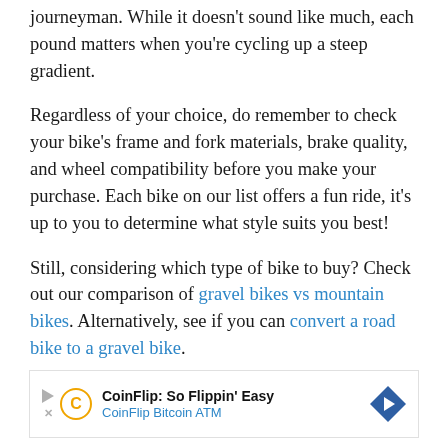journeyman. While it doesn't sound like much, each pound matters when you're cycling up a steep gradient.
Regardless of your choice, do remember to check your bike's frame and fork materials, brake quality, and wheel compatibility before you make your purchase. Each bike on our list offers a fun ride, it's up to you to determine what style suits you best!
Still, considering which type of bike to buy? Check out our comparison of gravel bikes vs mountain bikes. Alternatively, see if you can convert a road bike to a gravel bike.
[Figure (other): CoinFlip Bitcoin ATM advertisement banner with play icon, X icon, CoinFlip circular C logo, text 'CoinFlip: So Flippin' Easy' and 'CoinFlip Bitcoin ATM', and a blue diamond-shaped arrow icon.]